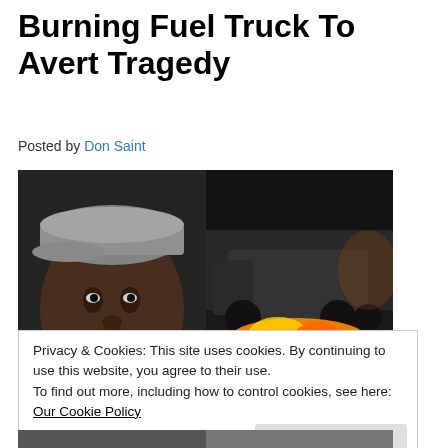Burning Fuel Truck To Avert Tragedy
Posted by Don Saint
[Figure (photo): Left half: portrait of a man wearing a flat cap, smiling. Right half: a burning fuel truck at night with flames visible beneath the vehicle.]
Privacy & Cookies: This site uses cookies. By continuing to use this website, you agree to their use.
To find out more, including how to control cookies, see here: Our Cookie Policy
[Figure (photo): Partial bottom strip of two photos, partially cut off at page bottom.]